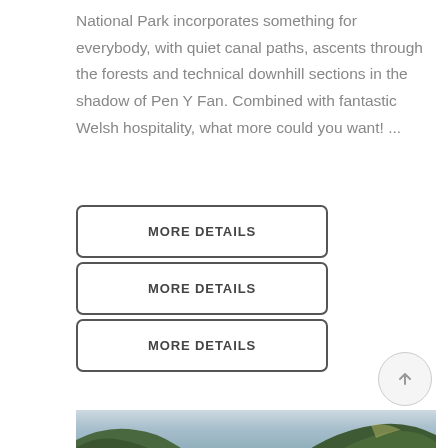National Park incorporates something for everybody, with quiet canal paths, ascents through the forests and technical downhill sections in the shadow of Pen Y Fan. Combined with fantastic Welsh hospitality, what more could you want! ...
MORE DETAILS
MORE DETAILS
MORE DETAILS
[Figure (photo): Landscape photo of a mountain valley with a lake or river in the foreground, green hillsides on both sides, and a pale sky with clouds in the background.]